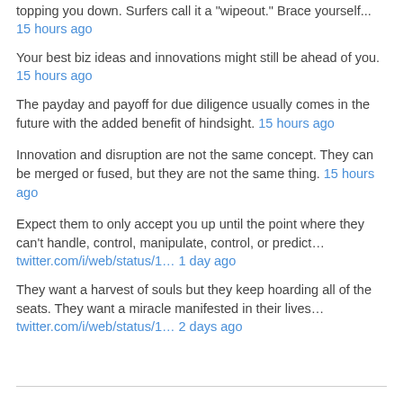topping you down. Surfers call it a "wipeout." Brace yourself...
15 hours ago
Your best biz ideas and innovations might still be ahead of you.
15 hours ago
The payday and payoff for due diligence usually comes in the future with the added benefit of hindsight. 15 hours ago
Innovation and disruption are not the same concept. They can be merged or fused, but they are not the same thing. 15 hours ago
Expect them to only accept you up until the point where they can't handle, control, manipulate, control, or predict…
twitter.com/i/web/status/1… 1 day ago
They want a harvest of souls but they keep hoarding all of the seats. They want a miracle manifested in their lives…
twitter.com/i/web/status/1… 2 days ago